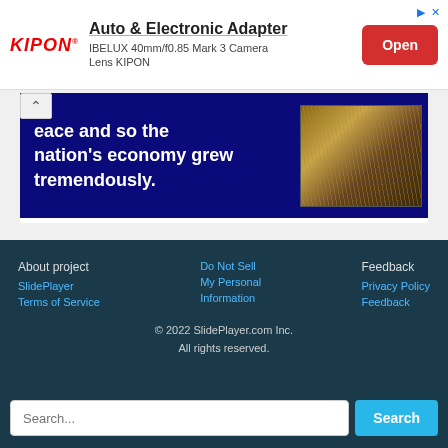[Figure (screenshot): KIPON brand advertisement banner for Auto & Electronic Adapter - IBELUX 40mm/f0.85 Mark 3 Camera Lens KIPON, with red Open button]
[Figure (screenshot): Slide showing text 'eace and so the nation's economy grew tremendously.' on dark blue background with image of straw/grass on right]
About project  Do Not Sell  Feedback
SlidePlayer  My Personal  Privacy Policy
Terms of Service  Information  Feedback
© 2022 SlidePlayer.com Inc.
All rights reserved.